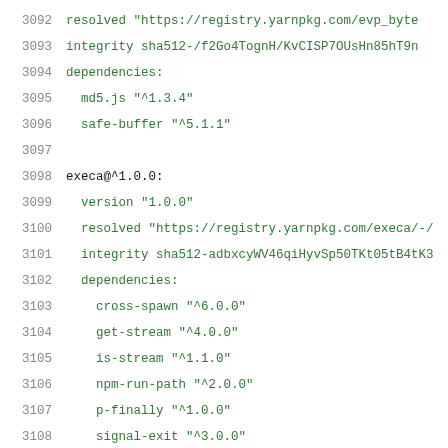3092    resolved "https://registry.yarnpkg.com/evp_byte
3093    integrity sha512-/f2Go4TognH/KvCISP7OUsHn85hT9n
3094    dependencies:
3095      md5.js "^1.3.4"
3096      safe-buffer "^5.1.1"
3097
3098  execa@^1.0.0:
3099    version "1.0.0"
3100    resolved "https://registry.yarnpkg.com/execa/-/
3101    integrity sha512-adbxcyWV46qiHyvSp50TKt05tB4tK3
3102    dependencies:
3103      cross-spawn "^6.0.0"
3104      get-stream "^4.0.0"
3105      is-stream "^1.1.0"
3106      npm-run-path "^2.0.0"
3107      p-finally "^1.0.0"
3108      signal-exit "^3.0.0"
3109      strip-eof "^1.0.0"
3110
3111  expand-brackets@^2.1.4:
3112    version "2.1.4"
3113    resolved "https://registry.yarnpkg.com/expand-b